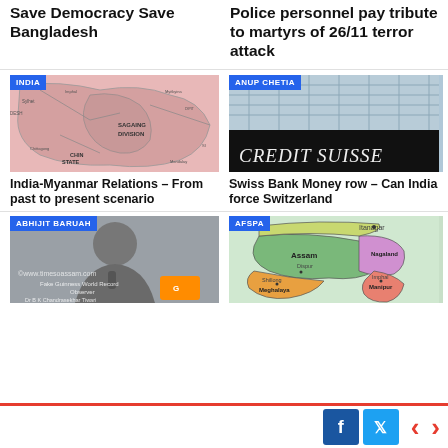Save Democracy Save Bangladesh
Police personnel pay tribute to martyrs of 26/11 terror attack
[Figure (map): Map of India/Myanmar border region showing Sagaing Division, Chin State, and surrounding areas]
India-Myanmar Relations – From past to present scenario
[Figure (photo): Credit Suisse bank building/logo sign, glass facade and black signage]
Swiss Bank Money row – Can India force Switzerland
[Figure (photo): Person speaking at a microphone, watermark www.timesoassam.com, caption: Fake Guinness World Record Observer Dr B K Chandrasekhar Tiwari]
[Figure (map): Map showing northeastern Indian states: Assam, Nagaland, Meghalaya, Manipur, Itanagar, with AFSPA label]